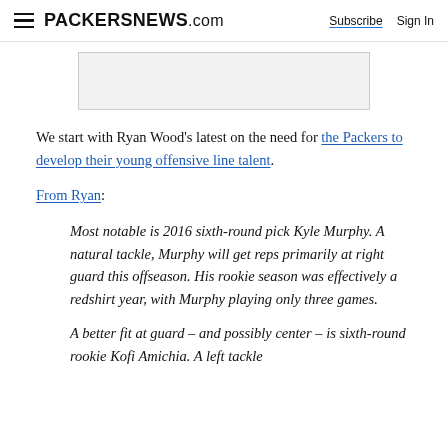PACKERSNEWS.com | Subscribe | Sign In
[Figure (other): Advertisement placeholder banner]
We start with Ryan Wood's latest on the need for the Packers to develop their young offensive line talent.
From Ryan:
Most notable is 2016 sixth-round pick Kyle Murphy. A natural tackle, Murphy will get reps primarily at right guard this offseason. His rookie season was effectively a redshirt year, with Murphy playing only three games.
A better fit at guard – and possibly center – is sixth-round rookie Kofi Amichia. A left tackle